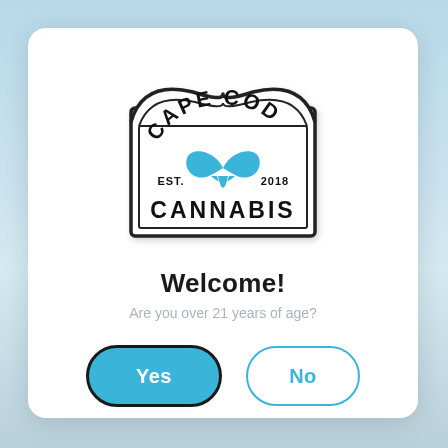[Figure (logo): Cape Cod Cannabis logo: shield/badge shape with whale tail in blue, text CAPE COD arched at top, EST. 2018, CANNABIS at bottom, black border]
Welcome!
Are you over 21 years of age?
Yes
No